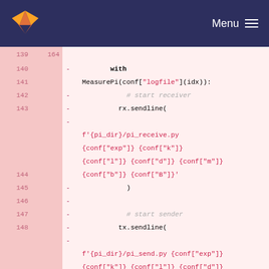GitLab logo | Menu
Code diff showing lines 139-150 with removed lines (marked with -), containing Python code with MeasurePi context manager, rx.sendline and tx.sendline calls with f-string arguments including conf dictionary accesses.